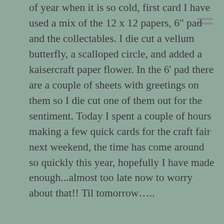of year when it is so cold, first card I have used a mix of the 12 x 12 papers, 6" pad and the collectables. I die cut a vellum butterfly, a scalloped circle, and added a kaisercraft paper flower. In the 6' pad there are a couple of sheets with greetings on them so I die cut one of them out for the sentiment. Today I spent a couple of hours making a few quick cards for the craft fair next weekend, the time has come around so quickly this year, hopefully I have made enough...almost too late now to worry about that!! Til tomorrow.....
Share This:
Facebook
Twitter
Pinterest
Print
Like
Be the first to like this.